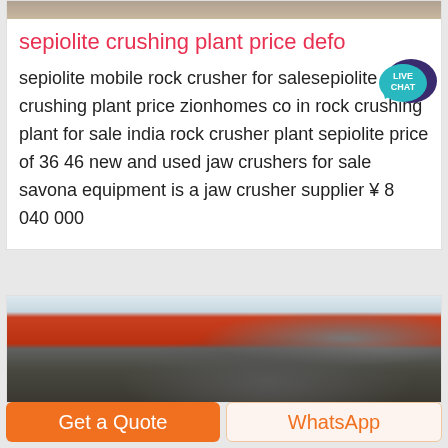[Figure (photo): Top portion of an industrial crushing plant or machinery, partially visible at top of card.]
sepiolite crushing plant price defo
sepiolite mobile rock crusher for salesepiolite crushing plant price zionhomes co in rock crushing plant for sale india rock crusher plant sepiolite price of 36 46 new and used jaw crushers for sale savona equipment is a jaw crusher supplier ¥ 8 040 000
[Figure (photo): Interior of an industrial facility showing heavy machinery, red overhead crane beams, cylindrical metal components and duct work.]
Get a Quote
WhatsApp